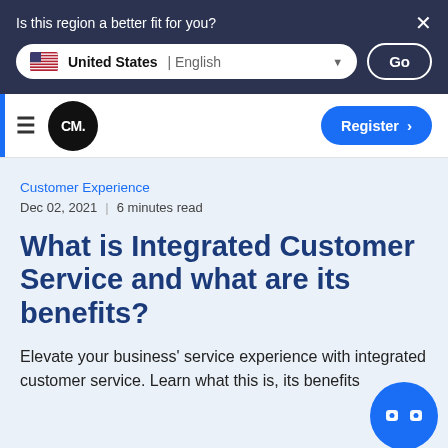Is this region a better fit for you? United States | English Go
CM. Register
Customer Experience
Dec 02, 2021    6 minutes read
What is Integrated Customer Service and what are its benefits?
Elevate your business' service experience with integrated customer service. Learn what this is, its benefits